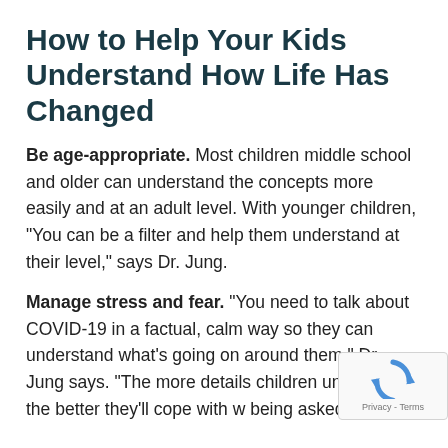How to Help Your Kids Understand How Life Has Changed
Be age-appropriate. Most children middle school and older can understand the concepts more easily and at an adult level. With younger children, “You can be a filter and help them understand at their level,” says Dr. Jung.
Manage stress and fear. “You need to talk about COVID-19 in a factual, calm way so they can understand what’s going on around them,” Dr. Jung says. “The more details children understand, the better they’ll cope with w being asked of them.”
[Figure (logo): reCAPTCHA badge with rotating arrows icon and Privacy - Terms text]